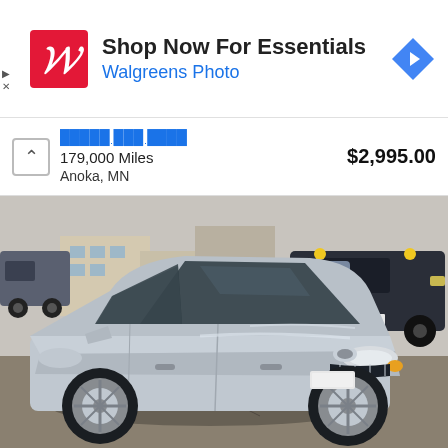[Figure (infographic): Walgreens advertisement banner: red Walgreens logo with W, text 'Shop Now For Essentials' and 'Walgreens Photo' in blue, blue diamond navigation icon on right]
179,000 Miles
Anoka, MN
$2,995.00
[Figure (photo): Silver sedan (Mazda) parked in a used car dealership lot in Anoka, MN. Other vehicles including dark SUVs/trucks visible in background. Overcast winter day.]